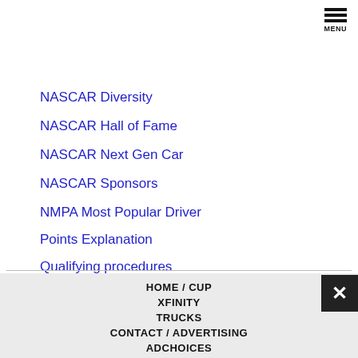MENU
NASCAR Diversity
NASCAR Hall of Fame
NASCAR Next Gen Car
NASCAR Sponsors
NMPA Most Popular Driver
Points Explanation
Qualifying procedures
Race Team Alliance
TV Listings
HOME / CUP
XFINITY
TRUCKS
CONTACT / ADVERTISING
ADCHOICES
PRIVACY STATEMENT
TERMS OF USE